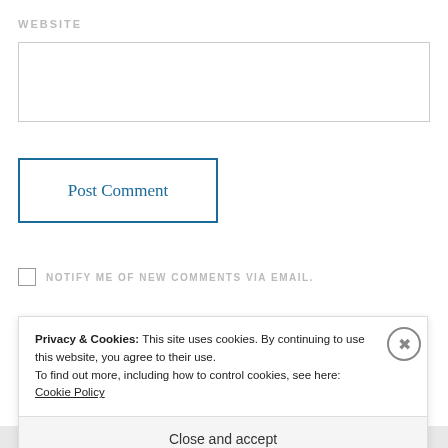WEBSITE
[Figure (screenshot): Empty text input field for website URL]
[Figure (screenshot): Post Comment button with blue border]
NOTIFY ME OF NEW COMMENTS VIA EMAIL.
NOTIFY ME OF NEW POSTS VIA EMAIL.
Privacy & Cookies: This site uses cookies. By continuing to use this website, you agree to their use.
To find out more, including how to control cookies, see here: Cookie Policy
Close and accept
PRIVACY THEMES